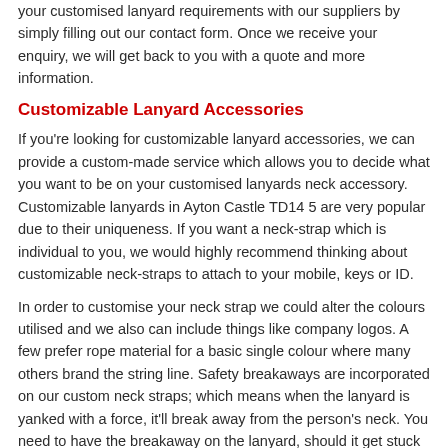your customised lanyard requirements with our suppliers by simply filling out our contact form. Once we receive your enquiry, we will get back to you with a quote and more information.
Customizable Lanyard Accessories
If you're looking for customizable lanyard accessories, we can provide a custom-made service which allows you to decide what you want to be on your customised lanyards neck accessory. Customizable lanyards in Ayton Castle TD14 5 are very popular due to their uniqueness. If you want a neck-strap which is individual to you, we would highly recommend thinking about customizable neck-straps to attach to your mobile, keys or ID.
In order to customise your neck strap we could alter the colours utilised and we also can include things like company logos. A few prefer rope material for a basic single colour where many others brand the string line. Safety breakaways are incorporated on our custom neck straps; which means when the lanyard is yanked with a force, it'll break away from the person's neck. You need to have the breakaway on the lanyard, should it get stuck on an object - the safety breakaway helps keep you from getting hurt.